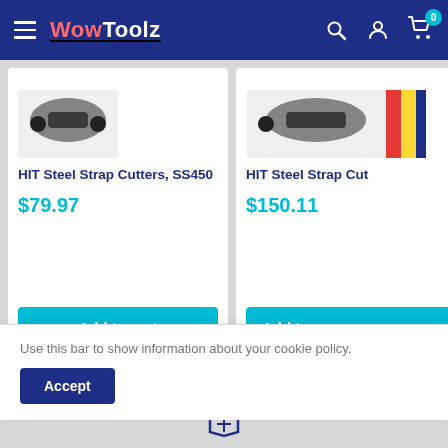WowToolz
[Figure (screenshot): Product card: HIT Steel Strap Cutters, SS450, $79.97 with Add to cart button]
HIT Steel Strap Cutters, SS450
$79.97
[Figure (screenshot): Partial product card: HIT Steel Strap Cut..., $150.11 with Add to cart button partially visible]
HIT Steel Strap Cut
$150.11
Use this bar to show information about your cookie policy.
Accept